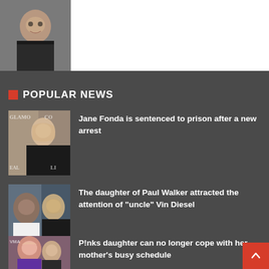[Figure (photo): Photo of Phil Collins, older man with glasses, smiling, in dark clothing]
POPULAR NEWS
[Figure (photo): Jane Fonda photo at Glamour event, blonde woman in black outfit]
Jane Fonda is sentenced to prison after a new arrest
[Figure (photo): Vin Diesel and Paul Walker photo, two men posing together]
The daughter of Paul Walker attracted the attention of "uncle" Vin Diesel
[Figure (photo): P!nk and her daughter photo at VMA event]
P!nks daughter can no longer cope with her mother's busy schedule